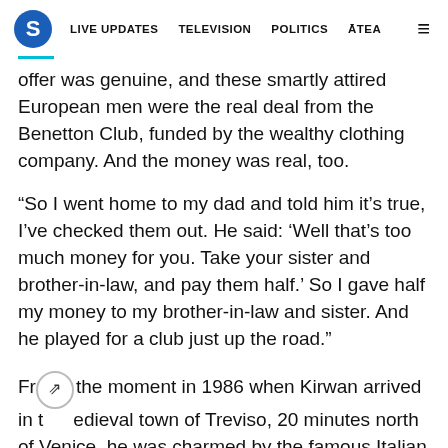S  LIVE UPDATES  TELEVISION  POLITICS  ĀTEA  ≡
offer was genuine, and these smartly attired European men were the real deal from the Benetton Club, funded by the wealthy clothing company. And the money was real, too.
“So I went home to my dad and told him it’s true, I’ve checked them out. He said: ‘Well that’s too much money for you. Take your sister and brother-in-law, and pay them half.’ So I gave half my money to my brother-in-law and sister. And he played for a club just up the road.”
From the moment in 1986 when Kirwan arrived in the medieval town of Treviso, 20 minutes north of Venice, he was charmed by the famous Italian